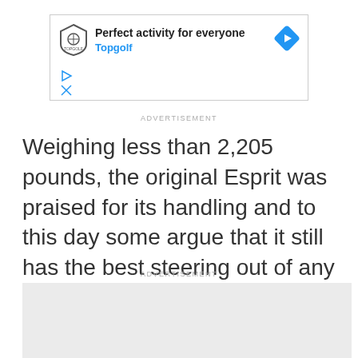[Figure (screenshot): Topgolf advertisement banner with logo, text 'Perfect activity for everyone', 'Topgolf', navigation arrow icon, play and close buttons]
ADVERTISEMENT
Weighing less than 2,205 pounds, the original Esprit was praised for its handling and to this day some argue that it still has the best steering out of any Esprit.
ADVERTISEMENT
[Figure (other): Gray advertisement placeholder box]